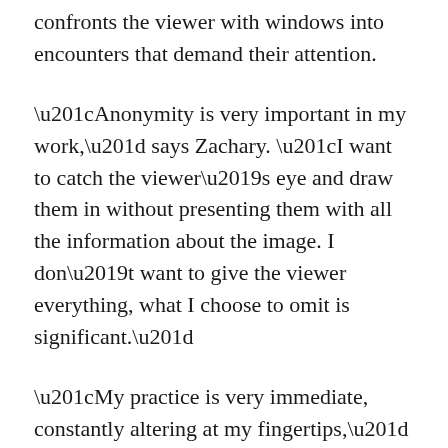confronts the viewer with windows into encounters that demand their attention.
“Anonymity is very important in my work,” says Zachary. “I want to catch the viewer’s eye and draw them in without presenting them with all the information about the image. I don’t want to give the viewer everything, what I choose to omit is significant.”
“My practice is very immediate, constantly altering at my fingertips,” says Zachary. “When standing in front of a wooden plank, I visualize images I want to reveal among naturally